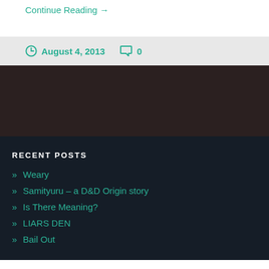Continue Reading →
August 4, 2013  0
RECENT POSTS
» Weary
» Samityuru – a D&D Origin story
» Is There Meaning?
» LIARS DEN
» Bail Out